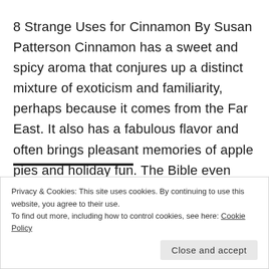8 Strange Uses for Cinnamon By Susan Patterson Cinnamon has a sweet and spicy aroma that conjures up a distinct mixture of exoticism and familiarity, perhaps because it comes from the Far East. It also has a fabulous flavor and often brings pleasant memories of apple pies and holiday fun. The Bible even mentions it as ...
Privacy & Cookies: This site uses cookies. By continuing to use this website, you agree to their use.
To find out more, including how to control cookies, see here: Cookie Policy